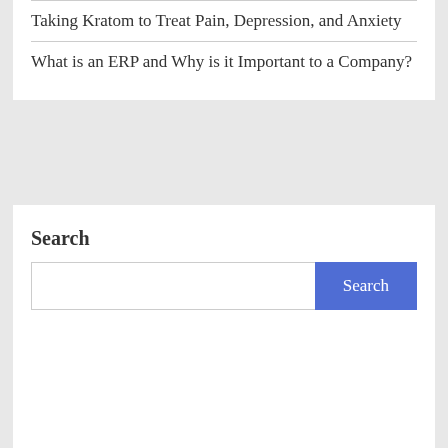Taking Kratom to Treat Pain, Depression, and Anxiety
What is an ERP and Why is it Important to a Company?
Search
[Figure (screenshot): Search input box with a blue Search button]